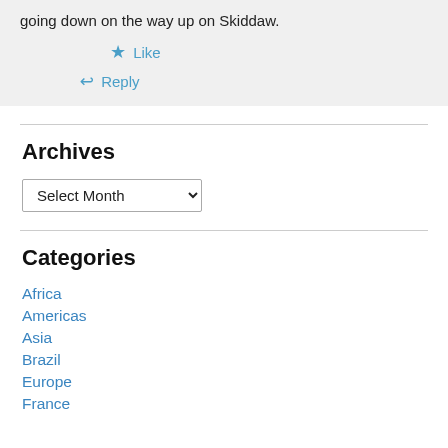going down on the way up on Skiddaw.
★ Like
↪ Reply
Archives
Select Month
Categories
Africa
Americas
Asia
Brazil
Europe
France